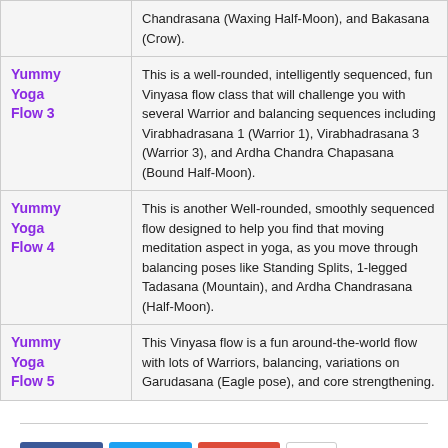| Class | Description |
| --- | --- |
| Yummy Yoga Flow 3 | This is a well-rounded, intelligently sequenced, fun Vinyasa flow class that will challenge you with several Warrior and balancing sequences including Virabhadrasana 1 (Warrior 1), Virabhadrasana 3 (Warrior 3), and Ardha Chandra Chapasana (Bound Half-Moon). |
| Yummy Yoga Flow 4 | This is another Well-rounded, smoothly sequenced flow designed to help you find that moving meditation aspect in yoga, as you move through balancing poses like Standing Splits, 1-legged Tadasana (Mountain), and Ardha Chandrasana (Half-Moon). |
| Yummy Yoga Flow 5 | This Vinyasa flow is a fun around-the-world flow with lots of Warriors, balancing, variations on Garudasana (Eagle pose), and core strengthening. |
Like 0  Tweet  Share  83
Rating: 5.00